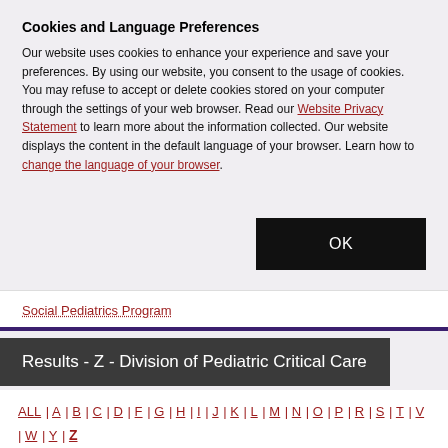Cookies and Language Preferences
Our website uses cookies to enhance your experience and save your preferences. By using our website, you consent to the usage of cookies. You may refuse to accept or delete cookies stored on your computer through the settings of your web browser. Read our Website Privacy Statement to learn more about the information collected. Our website displays the content in the default language of your browser. Learn how to change the language of your browser.
OK
Social Pediatrics Program
Results - Z - Division of Pediatric Critical Care
ALL | A | B | C | D | F | G | H | I | J | K | L | M | N | O | P | R | S | T | V | W | Y | Z
There are no results for this content list.